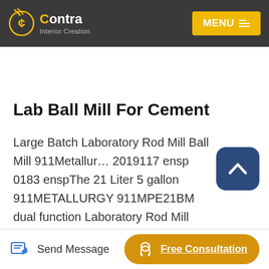Contra Interior Creation — MENU
Lab Ball Mill For Cement
Large Batch Laboratory Rod Mill Ball Mill 911Metallurgy 2019117 ensp 0183 enspThe 21 Liter 5 gallon 911METALLURGY 911MPE21BM dual function Laboratory Rod Mill Ball Mill is designed to meet the industrial requirements to grind coal cement and a wide variety of ores The dual duty Laboratory Grinding Mill consists of a gear motor mounted on a high precision solid steel
Send Message   Free Consultation